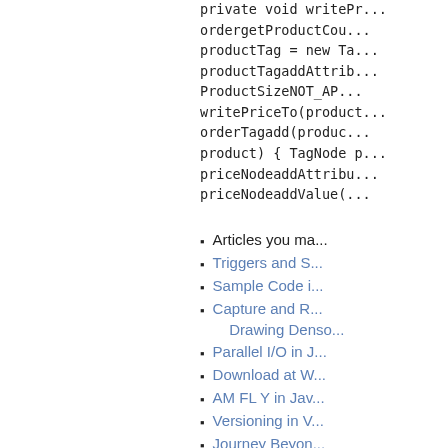private void writePr... ordergetProductCou... productTag = new Ta... productTagaddAttrib... ProductSizeNOT_AP... writePriceTo(product... orderTagadd(produc... product) { TagNode p... priceNodeaddAttribu... priceNodeaddValue(
Articles you ma...
Triggers and S...
Sample Code i...
Capture and R... Drawing Denso...
Parallel I/O in J...
Download at W...
AM FL Y in Jav...
Versioning in V...
Journey Beyon...
Using RewriteC... QR Bar Code ...
Download at W...
WINDOWS SE...
STARTED in ...